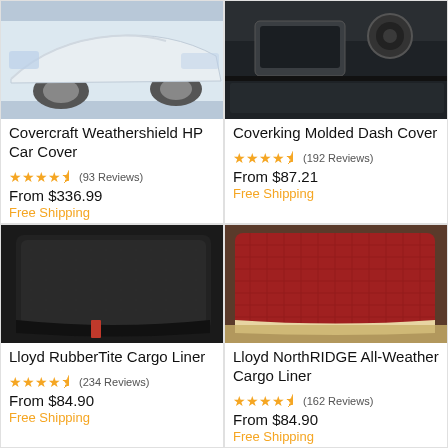[Figure (photo): Covercraft Weathershield HP Car Cover - white/silver car exterior photo]
Covercraft Weathershield HP Car Cover
★★★★½ (93 Reviews)
From $336.99
Free Shipping
[Figure (photo): Coverking Molded Dash Cover - car interior dashboard photo]
Coverking Molded Dash Cover
★★★★½ (192 Reviews)
From $87.21
Free Shipping
[Figure (photo): Lloyd RubberTite Cargo Liner - black rubber cargo liner in vehicle]
Lloyd RubberTite Cargo Liner
★★★★½ (234 Reviews)
From $84.90
Free Shipping
[Figure (photo): Lloyd NorthRIDGE All-Weather Cargo Liner - red and beige cargo liner in vehicle]
Lloyd NorthRIDGE All-Weather Cargo Liner
★★★★½ (162 Reviews)
From $84.90
Free Shipping